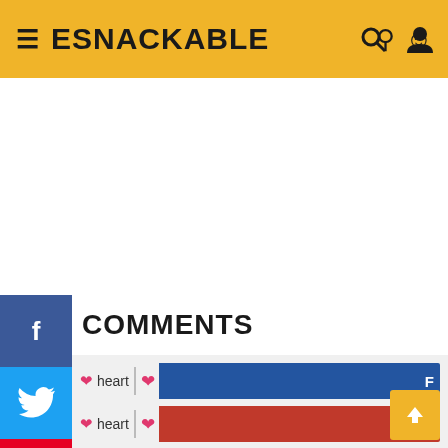ESNACKABLE
COMMENTS
[Figure (screenshot): Social media share sidebar with Facebook, Twitter, Pinterest, Tumblr, Reddit, Pocket buttons]
[Figure (screenshot): Comment reply widget with three heart-labeled colored bars (blue, red, cyan) for comment reactions]
Your email address will not be published. Required fields are marked *
Name *
Email *